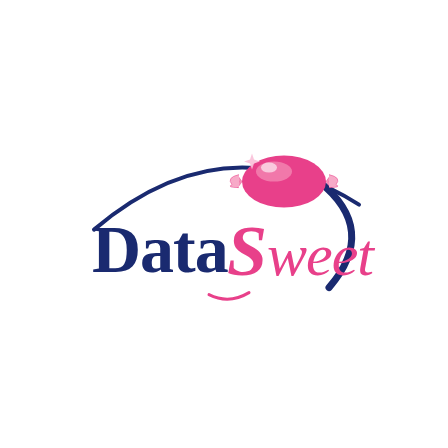[Figure (logo): DataSweet company logo featuring bold dark navy blue text 'Data' and hot pink cursive text 'Sweet', with a pink wrapped candy sitting above the letter S, and a navy blue swoosh arc encircling the right side of the logo, along with a pink arc below.]